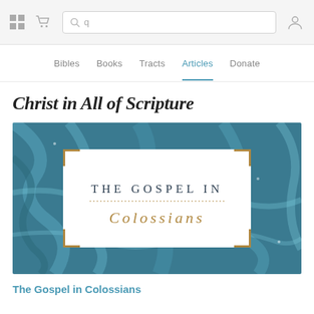navigation bar with grid icon, cart icon, search box, and user icon
Bibles  Books  Tracts  Articles  Donate
Christ in All of Scripture
[Figure (illustration): Book cover image for 'The Gospel in Colossians' — a dark teal marbled background with a centered white rectangle containing the text 'THE GOSPEL IN' with a dotted divider line and 'Colossians' in gold italic script. Gold corner ornaments at the four corners of the white rectangle.]
The Gospel in Colossians